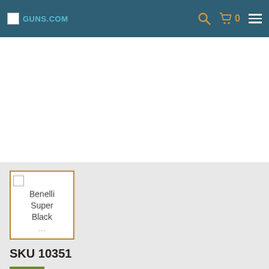Guns.com — navigation bar with logo, search, cart (0), and menu
[Figure (photo): Main product image area — white background, product image not loaded]
[Figure (photo): Thumbnail card with amber border showing Benelli Super Black Eagle product thumbnail (image broken), text: Benelli Super Black...]
SKU 10351
NEW